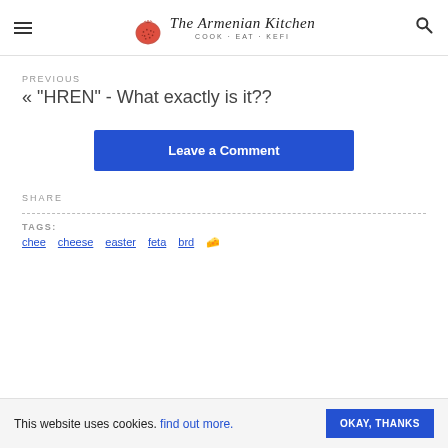The Armenian Kitchen COOK · EAT · KEFI
PREVIOUS
« "HREN" - What exactly is it??
Leave a Comment
SHARE
TAGS:
This website uses cookies. find out more. OKAY, THANKS